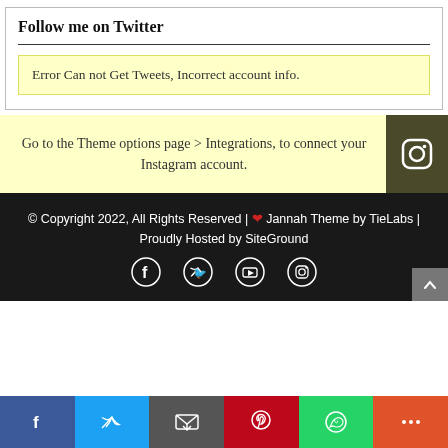Follow me on Twitter
Error Can not Get Tweets, Incorrect account info.
Go to the Theme options page > Integrations, to connect your Instagram account.
© Copyright 2022, All Rights Reserved | ❤ Jannah Theme by TieLabs | Proudly Hosted by SiteGround
[Figure (infographic): Social media share bar with Facebook, Twitter, Email, Pinterest, WhatsApp, and More icons]